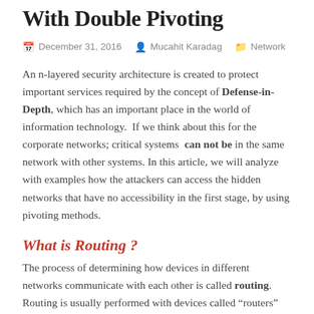With Double Pivoting
December 31, 2016   Mucahit Karadag   Network
An n-layered security architecture is created to protect important services required by the concept of Defense-in-Depth, which has an important place in the world of information technology.  If we think about this for the corporate networks; critical systems  can not be  in the same network with other systems. In this article, we will analyze with examples how the attackers can access the hidden networks that have no accessibility in the first stage, by using pivoting methods.
What is Routing ?
The process of determining how devices in different networks communicate with each other is called routing. Routing is usually performed with devices called “routers”